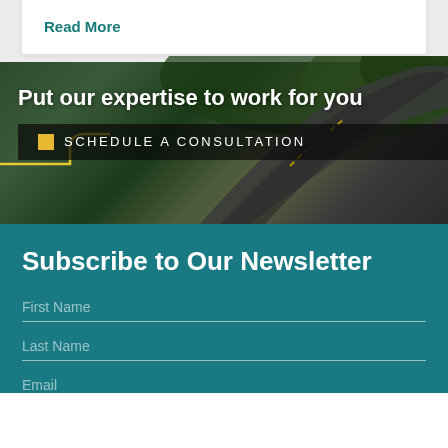Read More
Put our expertise to work for you
SCHEDULE A CONSULTATION
Subscribe to Our Newsletter
First Name
Last Name
Email